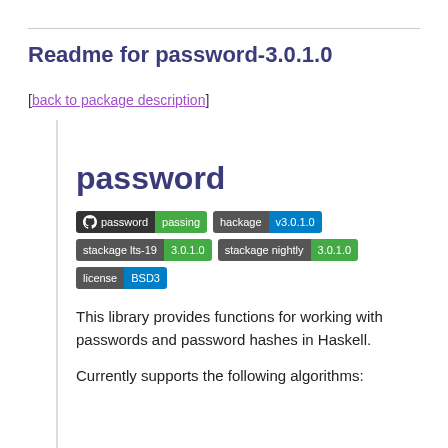Readme for password-3.0.1.0
[back to package description]
password
[Figure (infographic): Badges: GitHub password/passing, hackage v3.0.1.0, stackage lts-19 3.0.1.0, stackage nightly 3.0.1.0, license BSD3]
This library provides functions for working with passwords and password hashes in Haskell.
Currently supports the following algorithms: